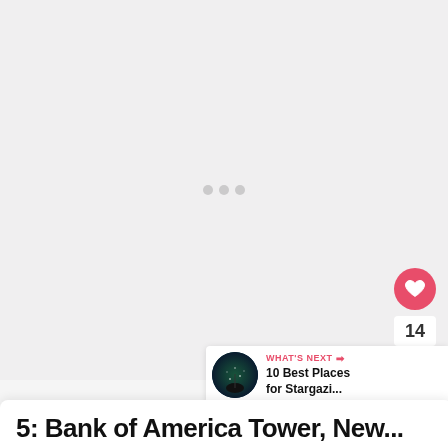[Figure (photo): Large image area placeholder with light gray background, showing faint dot indicators in the center suggesting a slideshow carousel]
[Figure (infographic): UI interaction buttons on right side: pink heart/like button, like count '14', and white share button with share icon]
[Figure (photo): What's Next bar at bottom right showing a dark circular thumbnail image of a person silhouetted against starry sky, with label 'WHAT'S NEXT' and title '10 Best Places for Stargazi...']
5: Bank of America Tower, New...